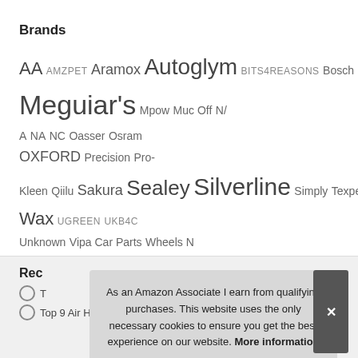Brands
AA AMZPET Aramox Autoglym BITS4REASONS Bosch carmats4u CarPlan Carsio Draper FSW Generic Hycote JVL KATUR Keenso KKmoon Laser MASO Maypole Meguiar's Mpow Muc Off N/A NA NC Oasser Osram OXFORD Precision Pro-Kleen Qiilu Sakura Sealey Silverline Simply Texpeed Turtle Wax UGREEN UKB4C Unknown Vipa Car Parts Wheels N Bits Xtremeauto YOSH
Rec
T
Top 9 Air Horn Truck UK – Car Horns
As an Amazon Associate I earn from qualifying purchases. This website uses the only necessary cookies to ensure you get the best experience on our website. More information